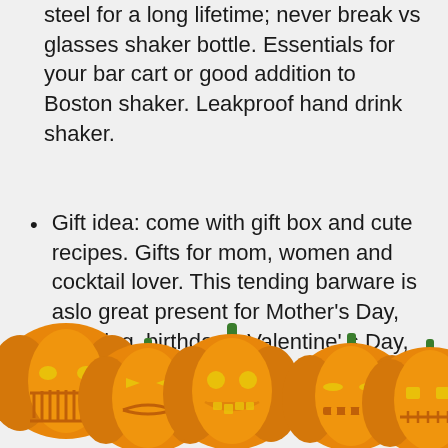steel for a long lifetime; never break vs glasses shaker bottle. Essentials for your bar cart or good addition to Boston shaker. Leakproof hand drink shaker.
Gift idea: come with gift box and cute recipes. Gifts for mom, women and cocktail lover. This tending barware is aslo great present for Mother's Day, wedding, birthdays, Valentine' s Day, Christmas and or
[Figure (illustration): Five carved Halloween jack-o'-lantern pumpkins in a row at the bottom of the page, each with different facial expressions and glowing yellow-orange color with green stems.]